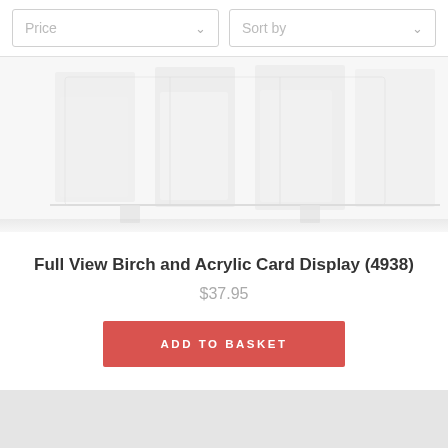[Figure (screenshot): Filter bar with Price dropdown and Sort by dropdown]
[Figure (photo): Partial product image of Full View Birch and Acrylic Card Display, faded/cropped]
Full View Birch and Acrylic Card Display (4938)
$37.95
ADD TO BASKET